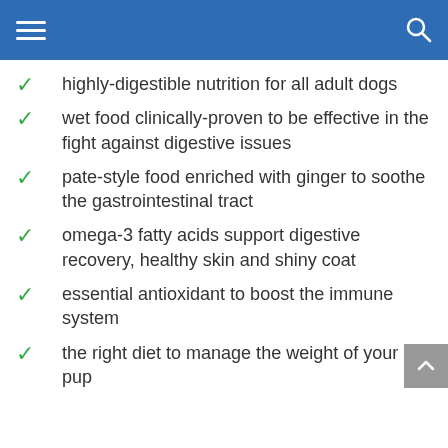highly-digestible nutrition for all adult dogs
wet food clinically-proven to be effective in the fight against digestive issues
pate-style food enriched with ginger to soothe the gastrointestinal tract
omega-3 fatty acids support digestive recovery, healthy skin and shiny coat
essential antioxidant to boost the immune system
the right diet to manage the weight of your pup